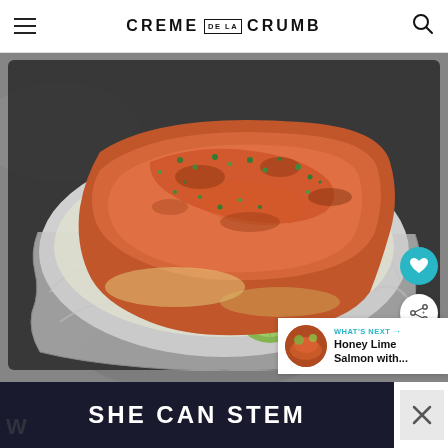CREME DE LA CRUMB
[Figure (photo): Overhead view of baked/broiled salmon fillet in aluminum foil on a dark baking sheet, garnished with chopped cilantro and lime slices, with buttery sauce visible.]
[Figure (photo): Small circular thumbnail of Honey Lime Salmon recipe image for 'What's Next' widget]
WHAT'S NEXT → Honey Lime Salmon with...
[Figure (screenshot): Ad banner reading 'SHE CAN STEM' on dark background]